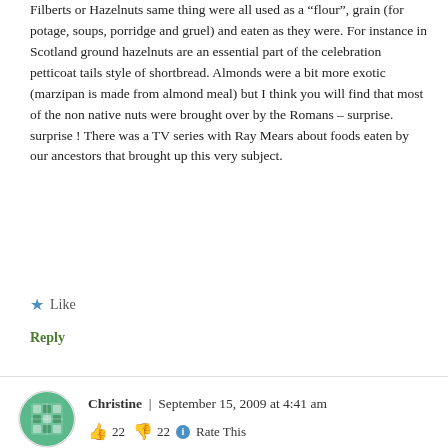Filberts or Hazelnuts same thing were all used as a “flour”, grain (for potage, soups, porridge and gruel) and eaten as they were. For instance in Scotland ground hazelnuts are an essential part of the celebration petticoat tails style of shortbread. Almonds were a bit more exotic (marzipan is made from almond meal) but I think you will find that most of the non native nuts were brought over by the Romans – surprise. surprise ! There was a TV series with Ray Mears about foods eaten by our ancestors that brought up this very subject.
★ Like
Reply
[Figure (illustration): User avatar for Christine - circular green patterned icon]
Christine | September 15, 2009 at 4:41 am
👍 22 👎 22 ⓘ Rate This